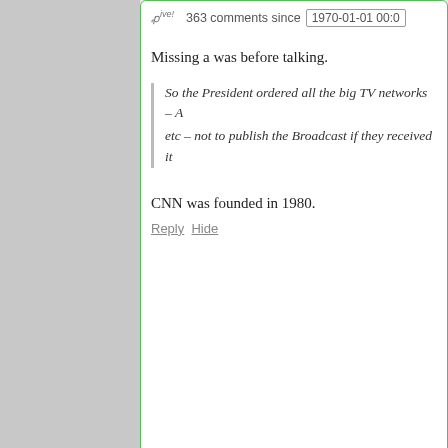363 comments since   1970-01-01 00:0
Missing a was before talking.
So the President ordered all the big TV networks – A etc – not to publish the Broadcast if they received it
CNN was founded in 1980.
Reply  Hide
LHC says:
June 22, 2016 at 11:25 pm ~new~
DUE TO UNFORESEEN RESOURCE STRAINS IMPORTING UNFINISHED TELEVISION NETW THE NEXT DECADE. THANK YOU FOR YOUR
Reply  Hide  1
Dindle sove